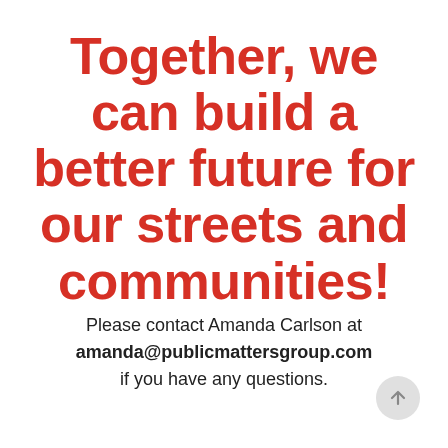Together, we can build a better future for our streets and communities!
Please contact Amanda Carlson at amanda@publicmattersgroup.com if you have any questions.